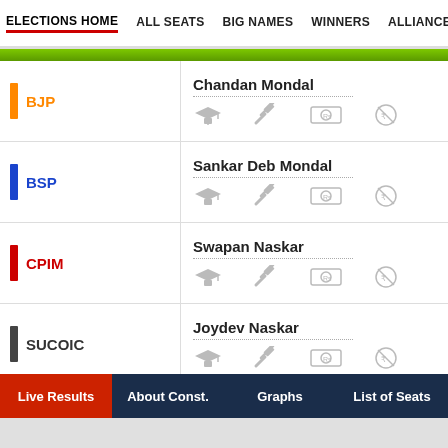ELECTIONS HOME | ALL SEATS | BIG NAMES | WINNERS | ALLIANCE
BJP - Chandan Mondal
BSP - Sankar Deb Mondal
CPIM - Swapan Naskar
SUCOIC - Joydev Naskar
IND - Chinmay Naskar
Live Results | About Const. | Graphs | List of Seats